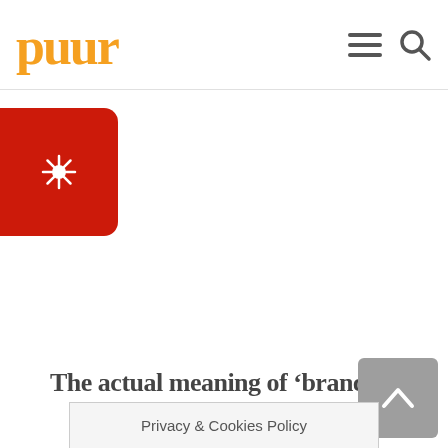puur
[Figure (logo): Red rounded rectangle with a white sun/network node icon]
The actual meaning of ‘brand’
[Figure (other): Grey back-to-top button with upward chevron arrow]
Privacy & Cookies Policy